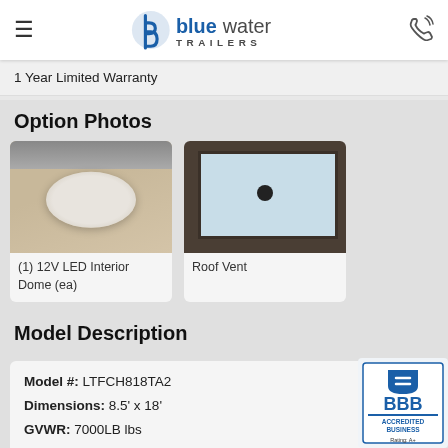Bluewater Trailers
1 Year Limited Warranty
Option Photos
[Figure (photo): Photo of a 12V LED Interior Dome light mounted on a granite-style surface]
(1) 12V LED Interior Dome (ea)
[Figure (photo): Photo of a Roof Vent viewed from below showing sky through the vent with a center knob]
Roof Vent
Model Description
Model #: LTFCH818TA2
Dimensions: 8.5' x 18'
GVWR: 7000LB lbs
Axles: TANDEM